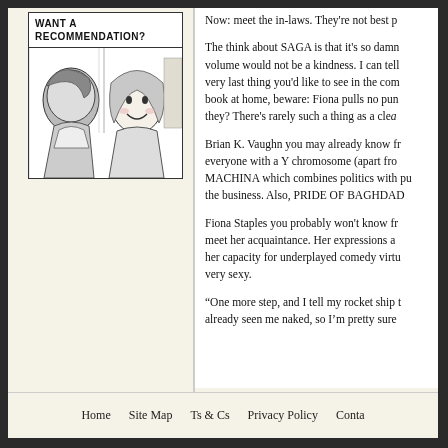[Figure (illustration): Comic panel showing two characters facing each other with header text 'WANT A RECOMMENDATION?']
Now: meet the in-laws. They're not best p...
The think about SAGA is that it's so damn... volume would not be a kindness. I can tell... very last thing you'd like to see in the com... book at home, beware: Fiona pulls no pun... they? There's rarely such a thing as a clea...
Brian K. Vaughn you may already know fr... everyone with a Y chromosome (apart fro... MACHINA which combines politics with pu... the business. Also, PRIDE OF BAGHDAD...
Fiona Staples you probably won't know fr... meet her acquaintance. Her expressions a... her capacity for underplayed comedy virtu... very sexy.
“One more step, and I tell my rocket ship t... already seen me naked, so I’m pretty sure...
Home   Site Map   Ts & Cs   Privacy Policy   Conta...